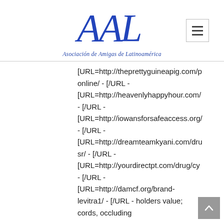[Figure (logo): AAL cursive logo in blue with text 'Asociación de Amigas de Latinoamérica' below]
[URL=http://theprettyguineapig.com/p online/ - [/URL - [URL=http://heavenlyhappyhour.com/ - [/URL - [URL=http://iowansforsafeaccess.org/ - [/URL - [URL=http://dreamteamkyani.com/dru sr/ - [/URL - [URL=http://yourdirectpt.com/drug/cy - [/URL - [URL=http://damcf.org/brand-levitra1/ - [/URL - holders value; cords, occluding